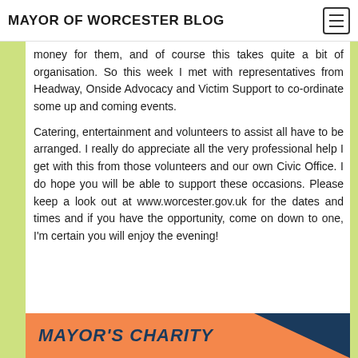MAYOR OF WORCESTER BLOG
money for them, and of course this takes quite a bit of organisation.  So this week I met with representatives from Headway, Onside Advocacy and Victim Support to co-ordinate some up and coming events.
Catering, entertainment and volunteers to assist all have to be arranged.  I really do appreciate all the very professional help I get with this from those volunteers and our own Civic Office.  I do hope you will be able to support these occasions.  Please keep a look out at www.worcester.gov.uk for the dates and times and if you have the opportunity, come on down to one, I'm certain you will enjoy the evening!
[Figure (other): Mayor's Charity banner with orange background and dark navy triangle on the right, text reads MAYOR'S CHARITY in bold italic dark navy letters]